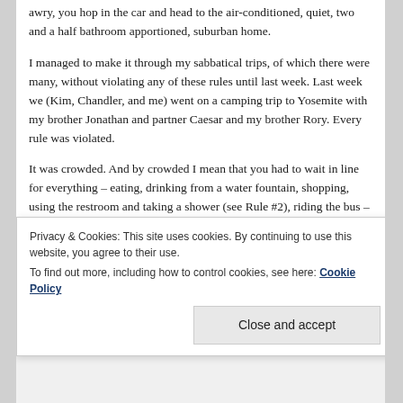awry, you hop in the car and head to the air-conditioned, quiet, two and a half bathroom apportioned, suburban home.
I managed to make it through my sabbatical trips, of which there were many, without violating any of these rules until last week. Last week we (Kim, Chandler, and me) went on a camping trip to Yosemite with my brother Jonathan and partner Caesar and my brother Rory. Every rule was violated.
It was crowded. And by crowded I mean that you had to wait in line for everything – eating, drinking from a water fountain, shopping, using the restroom and taking a shower (see Rule #2), riding the bus – everything. These
Privacy & Cookies: This site uses cookies. By continuing to use this website, you agree to their use.
To find out more, including how to control cookies, see here: Cookie Policy